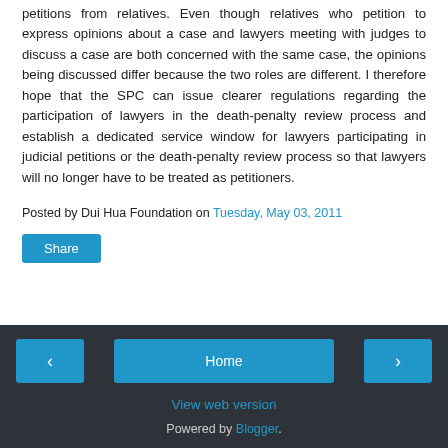petitions from relatives. Even though relatives who petition to express opinions about a case and lawyers meeting with judges to discuss a case are both concerned with the same case, the opinions being discussed differ because the two roles are different. I therefore hope that the SPC can issue clearer regulations regarding the participation of lawyers in the death-penalty review process and establish a dedicated service window for lawyers participating in judicial petitions or the death-penalty review process so that lawyers will no longer have to be treated as petitioners.
Posted by Dui Hua Foundation on Tuesday, May 03, 2011
Share
Home | View web version | Powered by Blogger.